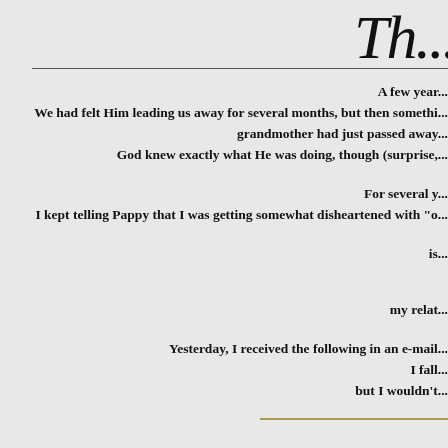Th...
A few year...
We had felt Him leading us away for several months, but then somethi...
grandmother had just passed away...
God knew exactly what He was doing, though (surprise,...

For several y...
I kept telling Pappy that I was getting somewhat disheartened with "o...

is...

my relat...

Yesterday, I received the following in an e-mail...
I fall...
but I wouldn't...